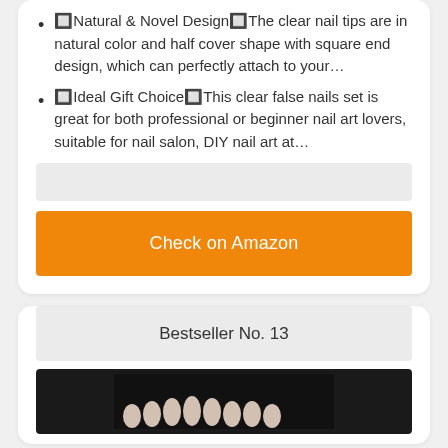🔲Natural & Novel Design🔲The clear nail tips are in natural color and half cover shape with square end design, which can perfectly attach to your…
🔲Ideal Gift Choice🔲This clear false nails set is great for both professional or beginner nail art lovers, suitable for nail salon, DIY nail art at…
Check on Amazon
Bestseller No. 13
[Figure (photo): Product photo of false nail tips on black background]